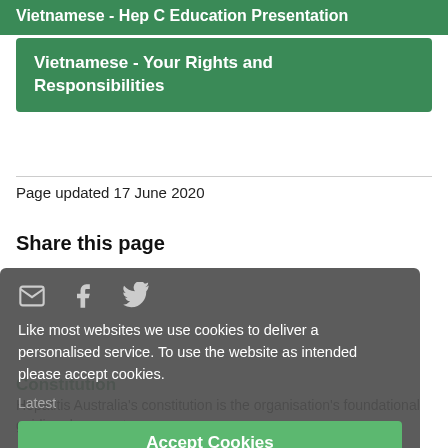Vietnamese - Hep C Education Presentation
Vietnamese - Your Rights and Responsibilities
Page updated 17 June 2020
Share this page
Like most websites we use cookies to deliver a personalised service. To use the website as intended please accept cookies.
Latest
Accept Cookies
Constitution
Hepatitis Australia's constitution is the organisation's foundational guiding document.